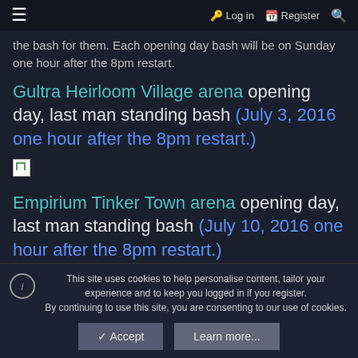≡  🔑 Log in  🔖 Register  🔍
the bash for them. Each opening day bash will be on Sunday one hour after the 8pm restart.
Gultra Heirloom Village arena opening day, last man standing bash (July 3, 2016 one hour after the 8pm restart.)
[Figure (other): Broken image placeholder]
Empirium Tinker Town arena opening day, last man standing bash (July 10, 2016 one hour after the 8pm restart.)
This site uses cookies to help personalise content, tailor your experience and to keep you logged in if you register. By continuing to use this site, you are consenting to our use of cookies.